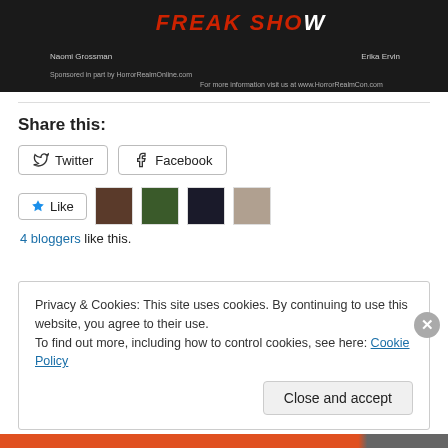[Figure (photo): Dark banner image for Freak Show with text 'FREAK SHOW', actor names Naomi Grossman and Erika Ervin, and sponsor info for HorrorRealmOnline.com and HorrorRealmCon.com]
Share this:
Twitter (button)
Facebook (button)
Like (button) with 4 blogger avatars
4 bloggers like this.
Privacy & Cookies: This site uses cookies. By continuing to use this website, you agree to their use.
To find out more, including how to control cookies, see here: Cookie Policy
Close and accept